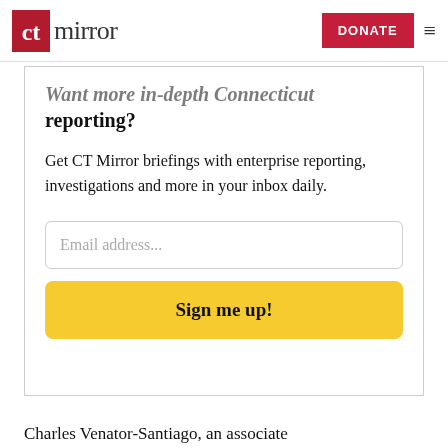the CT mirror | DONATE
Want more in-depth Connecticut reporting?
Get CT Mirror briefings with enterprise reporting, investigations and more in your inbox daily.
Email address...
Sign me up!
Charles Venator-Santiago, an associate